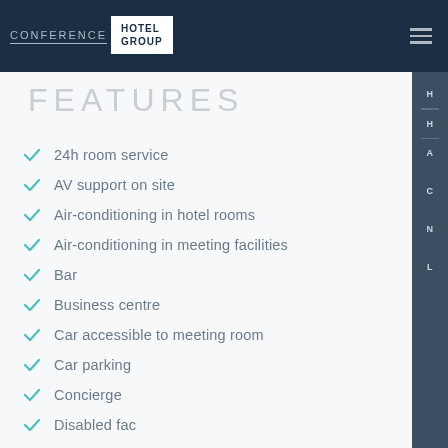CONFERENCE | HOTEL GROUP
FEATURES
24h room service
AV support on site
Air-conditioning in hotel rooms
Air-conditioning in meeting facilities
Bar
Business centre
Car accessible to meeting room
Car parking
Concierge
Disabled fac
Free Wi-Fi
Gym